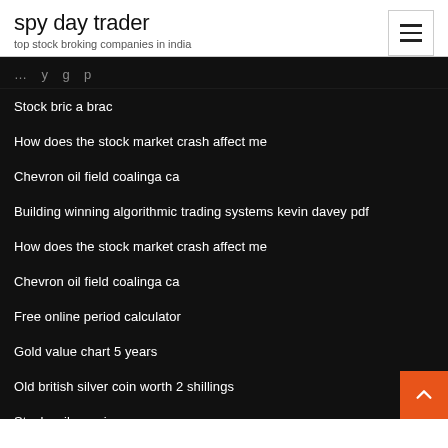spy day trader
top stock broking companies in india
Stock bric a brac
How does the stock market crash affect me
Chevron oil field coalinga ca
Building winning algorithmic trading systems kevin davey pdf
How does the stock market crash affect me
Chevron oil field coalinga ca
Free online period calculator
Gold value chart 5 years
Old british silver coin worth 2 shillings
Stocks silver prices